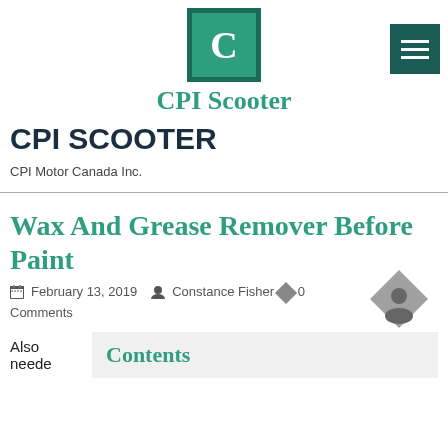[Figure (logo): CPI Scooter logo: green square with white C letter and dark green border]
CPI Scooter
CPI SCOOTER
CPI Motor Canada Inc.
Wax And Grease Remover Before Paint
February 13, 2019  Constance Fisher  0 Comments
Also neede
Contents